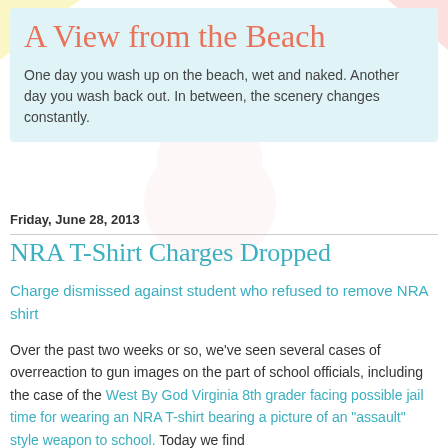A View from the Beach
One day you wash up on the beach, wet and naked. Another day you wash back out. In between, the scenery changes constantly.
Friday, June 28, 2013
NRA T-Shirt Charges Dropped
Charge dismissed against student who refused to remove NRA shirt
Over the past two weeks or so, we've seen several cases of overreaction to gun images on the part of school officials, including the case of the West By God Virginia 8th grader facing possible jail time for wearing an NRA T-shirt bearing a picture of an "assault" style weapon to school. Today we find